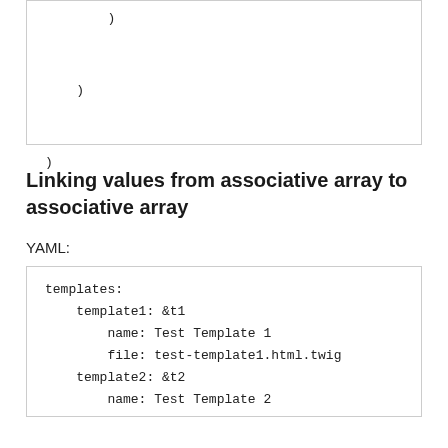[Figure (other): Code block showing closing parentheses at various indentation levels]
Linking values from associative array to associative array
YAML:
[Figure (other): YAML code block showing templates with template1 referencing &t1 with name Test Template 1 and file test-template1.html.twig, template2 referencing &t2 with name Test Template 2]